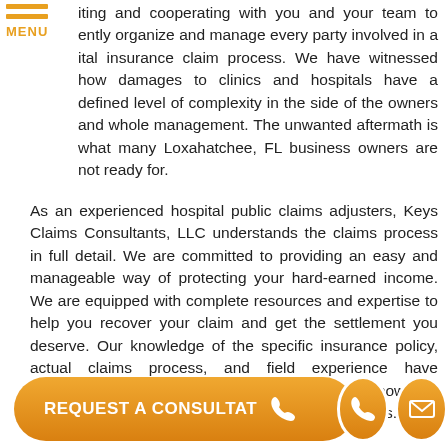ting and cooperating with you and your team to ently organize and manage every party involved in a ital insurance claim process. We have witnessed how damages to clinics and hospitals have a defined level of complexity in the side of the owners and whole management. The unwanted aftermath is what many Loxahatchee, FL business owners are not ready for.
As an experienced hospital public claims adjusters, Keys Claims Consultants, LLC understands the claims process in full detail. We are committed to providing an easy and manageable way of protecting your hard-earned income. We are equipped with complete resources and expertise to help you recover your claim and get the settlement you deserve. Our knowledge of the specific insurance policy, actual claims process, and field experience have accumulated a good amount of evidence on how our reputation in handling claims is top among the others.
[Figure (other): Orange rounded button labeled 'REQUEST A CONSULTAT' with a phone icon circle, and an orange email icon circle to the right]